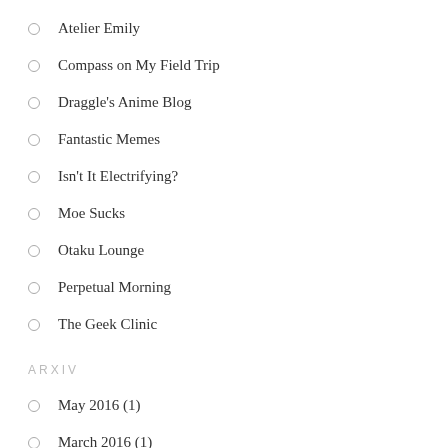Atelier Emily
Compass on My Field Trip
Draggle's Anime Blog
Fantastic Memes
Isn't It Electrifying?
Moe Sucks
Otaku Lounge
Perpetual Morning
The Geek Clinic
ARXIV
May 2016 (1)
March 2016 (1)
January 2016 (1)
November 2015 (1)
October 2015 (2)
August 2015 (1)